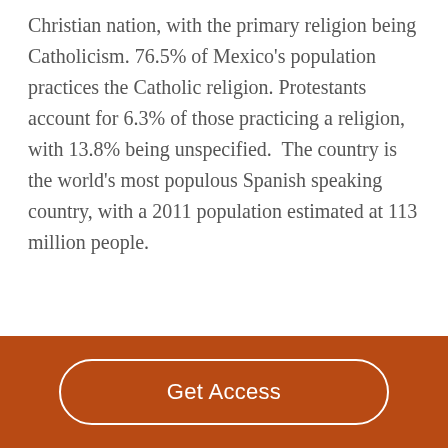Christian nation, with the primary religion being Catholicism. 76.5% of Mexico's population practices the Catholic religion. Protestants account for 6.3% of those practicing a religion, with 13.8% being unspecified.  The country is the world's most populous Spanish speaking country, with a 2011 population estimated at 113 million people.
Get Access